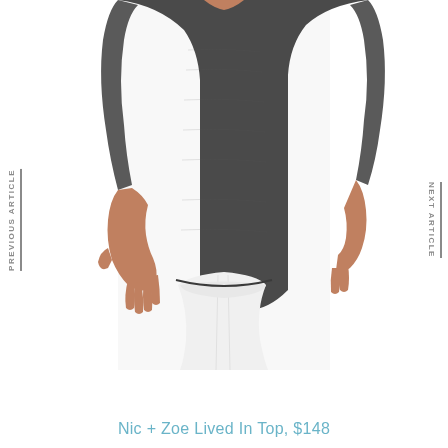[Figure (photo): A plus-size woman wearing a dark charcoal grey short-sleeve knit top and white jeans/pants. The photo is cropped from approximately the chest down to mid-thigh, showing both hands at her sides. The background is white.]
PREVIOUS ARTICLE
NEXT ARTICLE
Nic + Zoe Lived In Top, $148